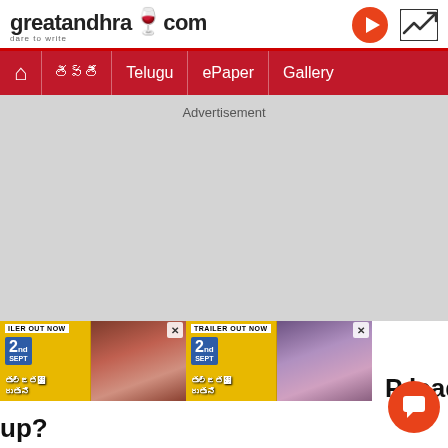greatandhra.com — dare to write
Advertisement
[Figure (screenshot): Movie promotional banner showing 'TRAILER OUT NOW' with SEPT 2 date, couple image, and Telugu movie title. Two overlapping banners visible.]
P leader: Ws up?